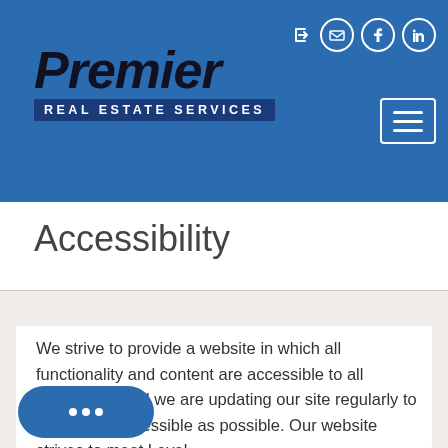[Figure (logo): Premier Real Estate Services logo with italic bold text and blue rectangular subtitle bar]
Premier Real Estate Services - website header with navigation icons and hamburger menu
Accessibility
We strive to provide a website in which all functionality and content are accessible to all individuals, and we are updating our site regularly to make it as accessible as possible. Our website strives to meet Level